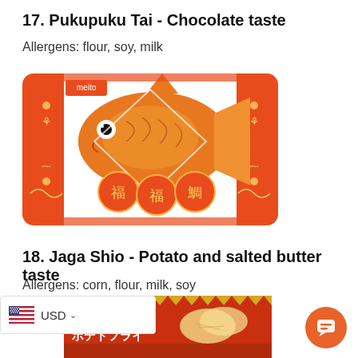17. Pukupuku Tai - Chocolate taste
Allergens: flour, soy, milk
[Figure (photo): Pukupuku Tai fish-shaped snack package by Meito, orange/white package with goldfish illustration and Japanese characters 福福鯛]
18. Jaga Shio - Potato and salted butter taste
Allergens: corn, flour, milk, soy
[Figure (photo): Bottom portion of a red snack package for Jaga Shio potato snacks, JOHO brand, with Japanese text ポテトフライ, partially visible]